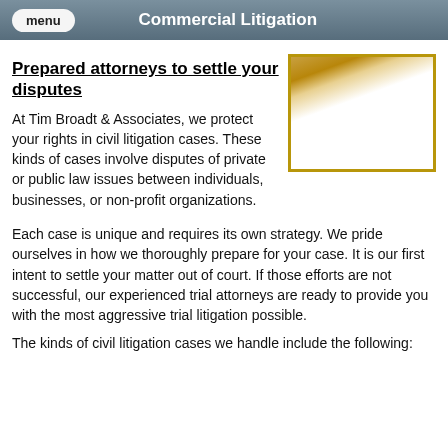Commercial Litigation
Prepared attorneys to settle your disputes
[Figure (photo): A photo showing a legal/office setting with warm golden-brown tones]
At Tim Broadt & Associates, we protect your rights in civil litigation cases. These kinds of cases involve disputes of private or public law issues between individuals, businesses, or non-profit organizations.
Each case is unique and requires its own strategy. We pride ourselves in how we thoroughly prepare for your case. It is our first intent to settle your matter out of court. If those efforts are not successful, our experienced trial attorneys are ready to provide you with the most aggressive trial litigation possible.
The kinds of civil litigation cases we handle include the following: